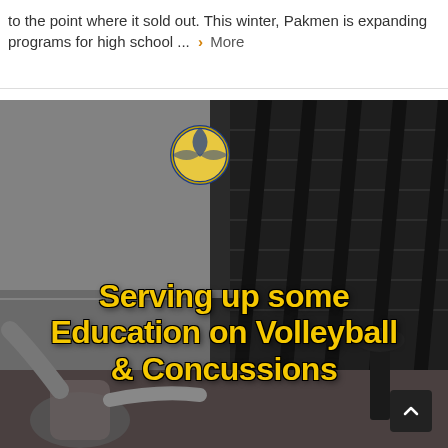to the point where it sold out. This winter, Pakmen is expanding programs for high school ... › More
[Figure (photo): A volleyball player in a gym spiking a ball, with bleachers in the background. Bold yellow text overlaid reads 'Serving up some Education on Volleyball & Concussions']